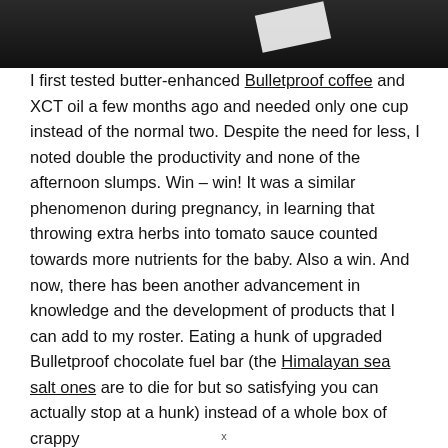[Figure (photo): Dark background photo, partially visible with a white card/package in the upper right area]
I first tested butter-enhanced Bulletproof coffee and XCT oil a few months ago and needed only one cup instead of the normal two. Despite the need for less, I noted double the productivity and none of the afternoon slumps. Win – win! It was a similar phenomenon during pregnancy, in learning that throwing extra herbs into tomato sauce counted towards more nutrients for the baby. Also a win. And now, there has been another advancement in knowledge and the development of products that I can add to my roster. Eating a hunk of upgraded Bulletproof chocolate fuel bar (the Himalayan sea salt ones are to die for but so satisfying you can actually stop at a hunk) instead of a whole box of crappy
x